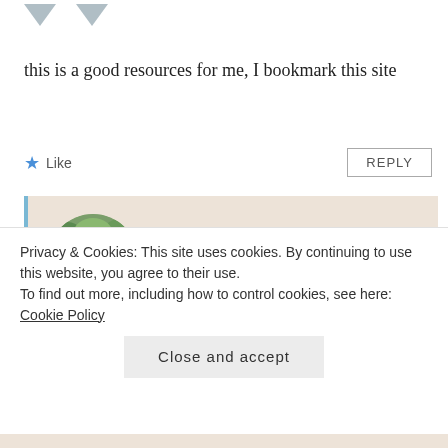[Figure (illustration): Two downward-pointing grey chevron/arrow icons at the top left]
this is a good resources for me, I bookmark this site
★ Like
REPLY
Kirk Baumann
JULY 16, 2010 AT 10:50 AM
[Figure (photo): Circular avatar photo of Kirk Baumann, a bearded man with glasses wearing a blue shirt, outdoors]
Glad you find the information resourceful. Thanks for bookmarking the site. If you're
Privacy & Cookies: This site uses cookies. By continuing to use this website, you agree to their use.
To find out more, including how to control cookies, see here: Cookie Policy
Close and accept